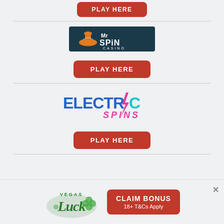[Figure (other): Partial red PLAY HERE button at top of page]
[Figure (logo): Mr Spin Casino logo — dark teal background with orange spinning top hat and white text 'Mr SPiN CASINO']
[Figure (other): Red PLAY HERE button for Mr Spin Casino]
[Figure (logo): Electric Spins logo — blue and cyan bold text 'ELECTRIC' with a lightning bolt replacing the I, and pink cursive text 'SPINS']
[Figure (other): Red PLAY HERE button for Electric Spins]
[Figure (other): Bottom ad banner: Vegas Luck logo on left, red CLAIM BONUS button with '18+ T&Cs Apply' on right, X close button top-right]